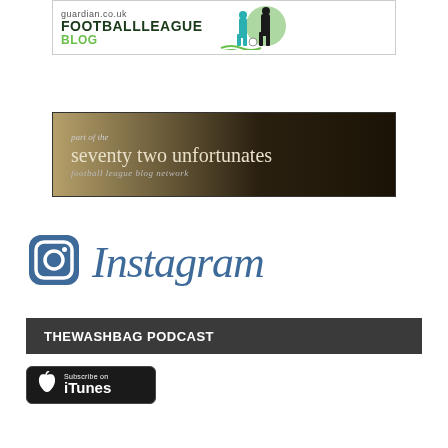[Figure (logo): Guardian.co.uk Football League Blog banner with green text and football player silhouettes]
[Figure (logo): Seventy Two Unfortunates football league blog network banner with dark brown gradient background]
[Figure (logo): Instagram logo with camera icon and italic Instagram wordmark in blue]
THEWASHBAG PODCAST
[Figure (logo): Subscribe on iTunes black badge with Apple logo]